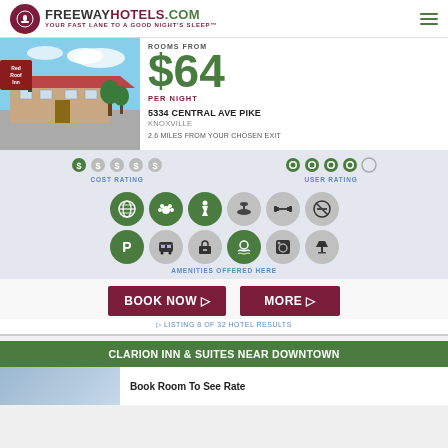FREEWAYHOTELS.COM YOUR FAST LANE TO A GOOD NIGHT'S SLEEP™
ROOMS FROM $64 PER NIGHT
5334 CENTRAL AVE PIKE
KNOXVILLE
2.6 MILES FROM YOUR CHOSEN EXIT
[Figure (photo): Red Roof Inn hotel exterior with signage]
COST RATING
USER RATING
AMENITIES OFFERED HERE
BOOK NOW ▷
MORE ▷
▷ LISTING 8 OF 32 HOTEL RESULTS
CLARION INN & SUITES NEAR DOWNTOWN
Book Room To See Rate